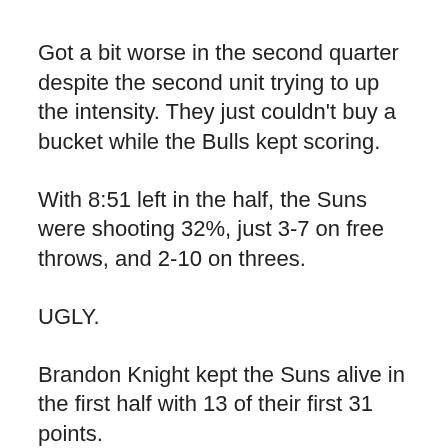Got a bit worse in the second quarter despite the second unit trying to up the intensity. They just couldn't buy a bucket while the Bulls kept scoring.
With 8:51 left in the half, the Suns were shooting 32%, just 3-7 on free throws, and 2-10 on threes.
UGLY.
Brandon Knight kept the Suns alive in the first half with 13 of their first 31 points.
Finally, the Suns started showing some life mid-second quarter putting up some real good effort on D. Once the Bulls started missing, the Suns got some run-outs